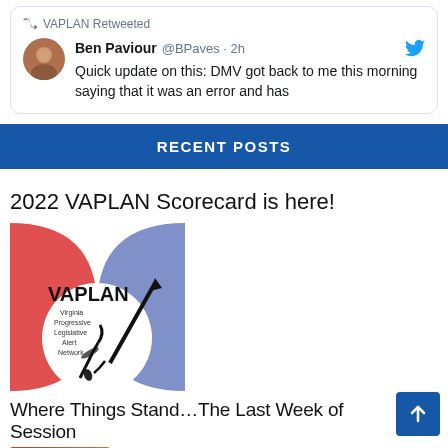[Figure (screenshot): Tweet card: VAPLAN Retweeted. Ben Paviour @BPaves · 2h. Quick update on this: DMV got back to me this morning saying that it was an error and has]
RECENT POSTS
2022 VAPLAN Scorecard is here!
[Figure (logo): VAPLAN Virginia Progressive Legislative Alert Network logo with pen/quill graphic and arrow on red-blue-white background]
Where Things Stand…The Last Week of Session
[Figure (photo): Partial thumbnail image at bottom of page, red/orange tones]